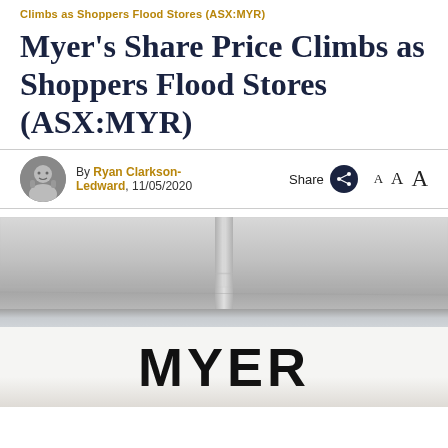Climbs as Shoppers Flood Stores (ASX:MYR)
Myer's Share Price Climbs as Shoppers Flood Stores (ASX:MYR)
By Ryan Clarkson-Ledward, 11/05/2020
[Figure (photo): Exterior and signage of a Myer department store, showing the large bold MYER lettering on a white storefront facade with a ceiling and beams visible above.]